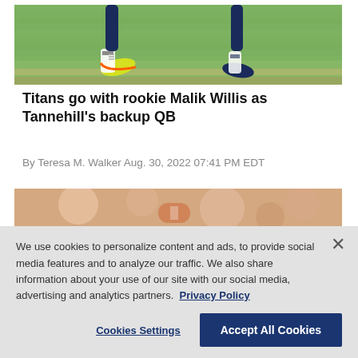[Figure (photo): Football field photo showing players' feet/legs running on grass, with yellow and blue cleats visible]
Titans go with rookie Malik Willis as Tannehill's backup QB
By Teresa M. Walker Aug. 30, 2022 07:41 PM EDT
[Figure (photo): Blurred football photo, partially obscured by cookie consent overlay]
We use cookies to personalize content and ads, to provide social media features and to analyze our traffic. We also share information about your use of our site with our social media, advertising and analytics partners. Privacy Policy
Cookies Settings | Accept All Cookies